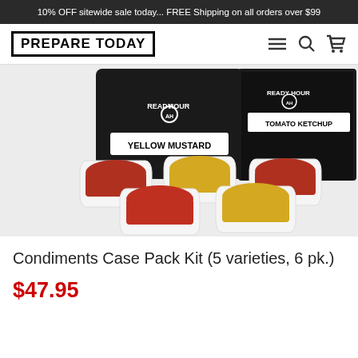10% OFF sitewide sale today... FREE Shipping on all orders over $99
[Figure (logo): PREPARE TODAY logo in black box with navigation icons (hamburger menu, search, cart)]
[Figure (photo): Ready Hour condiment pouches (Yellow Mustard and Tomato Ketchup) with five white bowls containing ketchup and yellow mustard]
Condiments Case Pack Kit (5 varieties, 6 pk.)
$47.95